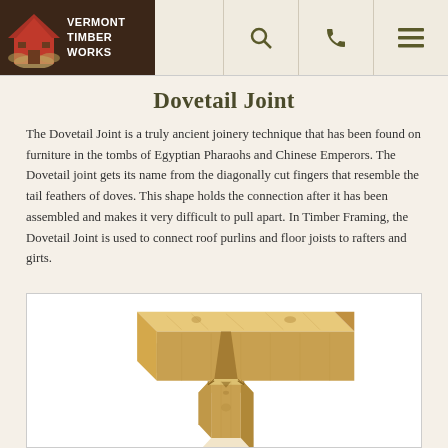VERMONT TIMBER WORKS
Dovetail Joint
The Dovetail Joint is a truly ancient joinery technique that has been found on furniture in the tombs of Egyptian Pharaohs and Chinese Emperors. The Dovetail joint gets its name from the diagonally cut fingers that resemble the tail feathers of doves. This shape holds the connection after it has been assembled and makes it very difficult to pull apart. In Timber Framing, the Dovetail Joint is used to connect roof purlins and floor joists to rafters and girts.
[Figure (photo): 3D illustration of a wooden dovetail joint showing two timber beams connected with a dovetail notch, rendered in light pine wood with visible wood grain and knots.]